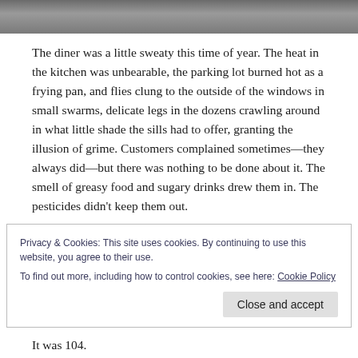[Figure (photo): Dark gray textured background photo strip at top of page]
The diner was a little sweaty this time of year. The heat in the kitchen was unbearable, the parking lot burned hot as a frying pan, and flies clung to the outside of the windows in small swarms, delicate legs in the dozens crawling around in what little shade the sills had to offer, granting the illusion of grime. Customers complained sometimes—they always did—but there was nothing to be done about it. The smell of greasy food and sugary drinks drew them in. The pesticides didn't keep them out.
Privacy & Cookies: This site uses cookies. By continuing to use this website, you agree to their use.
To find out more, including how to control cookies, see here: Cookie Policy
It was 104.